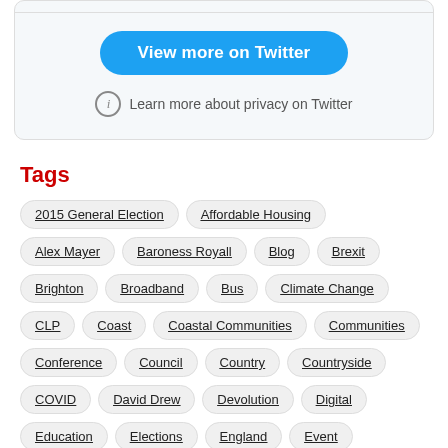[Figure (screenshot): Twitter embed widget with 'View more on Twitter' button and privacy notice]
Tags
2015 General Election
Affordable Housing
Alex Mayer
Baroness Royall
Blog
Brexit
Brighton
Broadband
Bus
Climate Change
CLP
Coast
Coastal Communities
Communities
Conference
Council
Country
Countryside
COVID
David Drew
Devolution
Digital
Education
Elections
England
Event
Fabians
Farming
Flooding
Food
Health
Housing